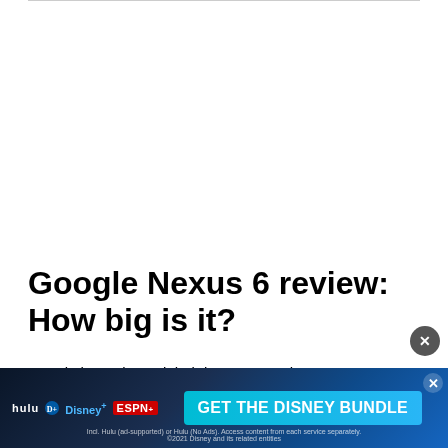Google Nexus 6 review: How big is it?
Google has released their latest smartphone, the...
[Figure (screenshot): Advertisement banner for Disney Bundle featuring Hulu, Disney+, and ESPN+ logos with 'GET THE DISNEY BUNDLE' call-to-action button on dark blue background]